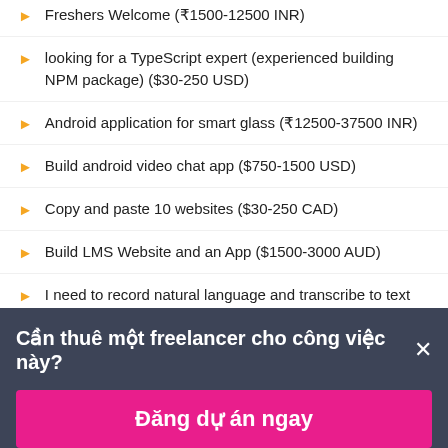Freshers Welcome (₹1500-12500 INR)
looking for a TypeScript expert (experienced building NPM package) ($30-250 USD)
Android application for smart glass (₹12500-37500 INR)
Build android video chat app ($750-1500 USD)
Copy and paste 10 websites ($30-250 CAD)
Build LMS Website and an App ($1500-3000 AUD)
I need to record natural language and transcribe to text ($15-25 CAD / giờ)
Apple & Google Wallet Pass creation Platform ($25-50 USD
Cần thuê một freelancer cho công việc này? ×
Đăng dự án ngay